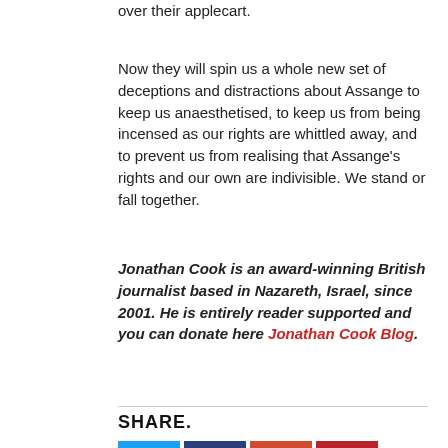over their applecart.
Now they will spin us a whole new set of deceptions and distractions about Assange to keep us anaesthetised, to keep us from being incensed as our rights are whittled away, and to prevent us from realising that Assange’s rights and our own are indivisible. We stand or fall together.
Jonathan Cook is an award-winning British journalist based in Nazareth, Israel, since 2001. He is entirely reader supported and you can donate here Jonathan Cook Blog.
SHARE.
[Figure (infographic): Social share buttons: Twitter (blue), Facebook (dark blue), Google+ (orange-red), Pinterest (red), LinkedIn (navy), Tumblr (dark blue), Email (dark grey)]